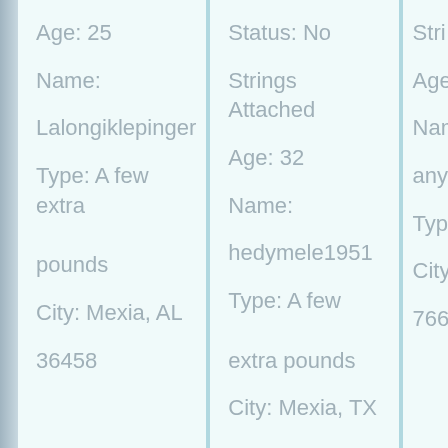Age: 25

Name:

Lalongiklepinger

Type: A few extra pounds

City: Mexia, AL 36458
Status: No

Strings Attached

Age: 32

Name:

hedymele1951

Type: A few extra pounds

City: Mexia, TX
Stri...

Age:...

Nam...

anya...

Type...

City:...

7666...